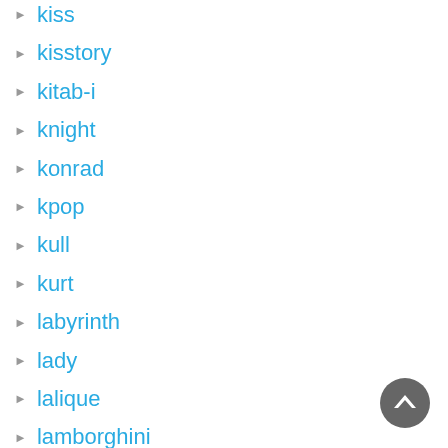kiss
kisstory
kitab-i
knight
konrad
kpop
kull
kurt
labyrinth
lady
lalique
lamborghini
lamy
last
[Figure (other): Scroll-to-top button: dark gray circle with white upward chevron arrow]